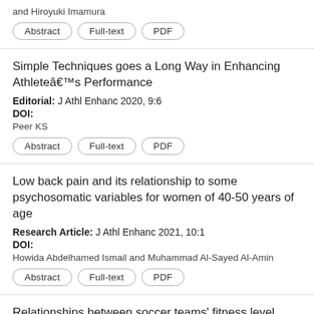and Hiroyuki Imamura
Abstract | Full-text | PDF
Simple Techniques goes a Long Way in Enhancing Athleteâ€™s Performance
Editorial: J Athl Enhanc 2020, 9:6
DOI:
Peer KS
Abstract | Full-text | PDF
Low back pain and its relationship to some psychosomatic variables for women of 40-50 years of age
Research Article: J Athl Enhanc 2021, 10:1
DOI:
Howida Abdelhamed Ismail and Muhammad Al-Sayed Al-Amin
Abstract | Full-text | PDF
Relationships between soccer teams' fitness level